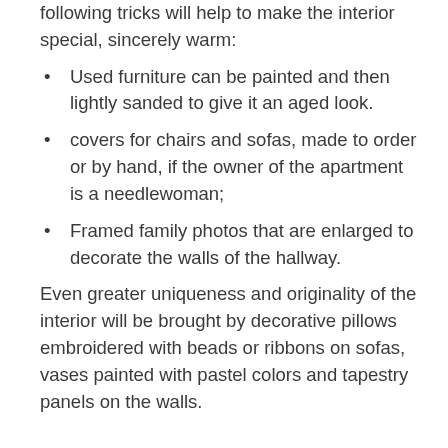following tricks will help to make the interior special, sincerely warm:
Used furniture can be painted and then lightly sanded to give it an aged look.
covers for chairs and sofas, made to order or by hand, if the owner of the apartment is a needlewoman;
Framed family photos that are enlarged to decorate the walls of the hallway.
Even greater uniqueness and originality of the interior will be brought by decorative pillows embroidered with beads or ribbons on sofas, vases painted with pastel colors and tapestry panels on the walls.